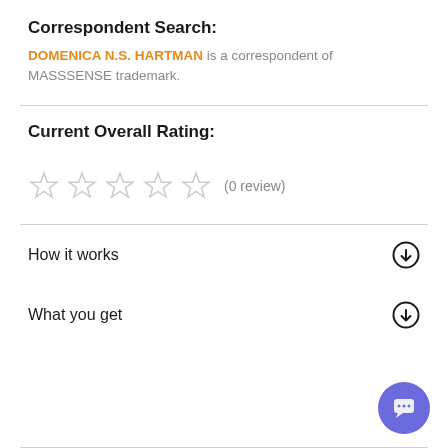Correspondent Search:
DOMENICA N.S. HARTMAN is a correspondent of MASSSENSE trademark.
Current Overall Rating:
(0 review)
How it works
What you get